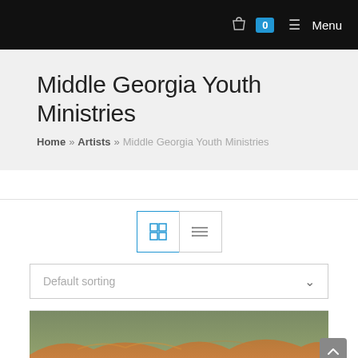0  Menu
Middle Georgia Youth Ministries
Home » Artists » Middle Georgia Youth Ministries
[Figure (screenshot): View toggle buttons: grid view (active, blue border) and list view, plus Default sorting dropdown and a product image strip at the bottom showing a landscape scene with orange/brown hills against a grayish-green sky.]